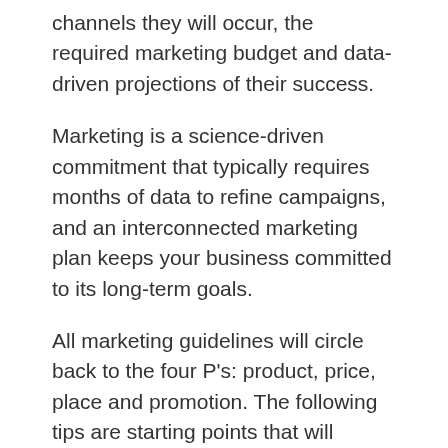channels they will occur, the required marketing budget and data-driven projections of their success.
Marketing is a science-driven commitment that typically requires months of data to refine campaigns, and an interconnected marketing plan keeps your business committed to its long-term goals.
All marketing guidelines will circle back to the four P's: product, price, place and promotion. The following tips are starting points that will ingrain the habit of continually returning to these four P's.
1. Create an executive summary.
Marketing campaigns should not be considered individual functions. Marketing is the story of your brand as told to customers; like any narrative, its